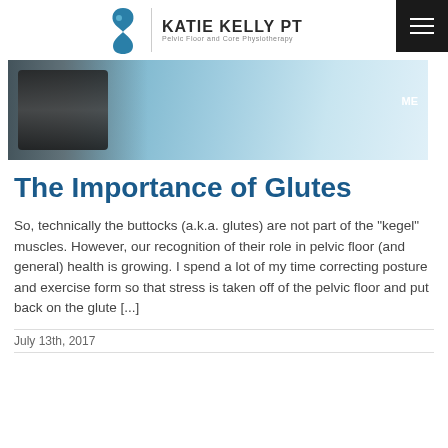KATIE KELLY PT | Pelvic Floor and Core Physiotherapy
[Figure (photo): Beach scene with a person in a wetsuit standing at the water's edge, waves in background, partial text overlay 'ME' visible on right side]
The Importance of Glutes
So, technically the buttocks (a.k.a. glutes) are not part of the "kegel" muscles. However, our recognition of their role in pelvic floor (and general) health is growing. I spend a lot of my time correcting posture and exercise form so that stress is taken off of the pelvic floor and put back on the glute [...]
July 13th, 2017